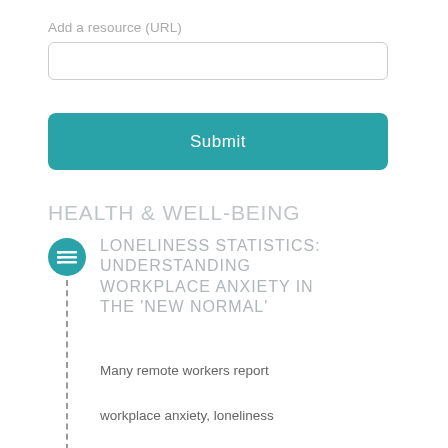Add a resource (URL)
[Figure (screenshot): Text input field with rounded border for entering a URL]
[Figure (screenshot): Teal submit button labeled 'Submit']
HEALTH & WELL-BEING
LONELINESS STATISTICS: UNDERSTANDING WORKPLACE ANXIETY IN THE 'NEW NORMAL'
Many remote workers report workplace anxiety, loneliness concerns, and stress. Learn new approaches to dealing with mental